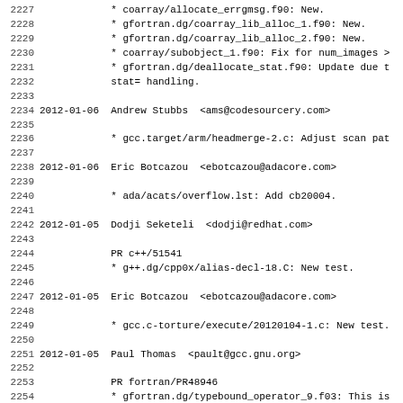Source code changelog entries, lines 2227-2258, showing GCC/GFortran commit log with dates, authors, emails, and file changes.